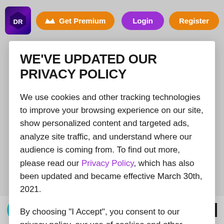Get Premium  Login  Register
WE'VE UPDATED OUR PRIVACY POLICY
We use cookies and other tracking technologies to improve your browsing experience on our site, show personalized content and targeted ads, analyze site traffic, and understand where our audience is coming from. To find out more, please read our Privacy Policy, which has also been updated and became effective March 30th, 2021.
By choosing "I Accept", you consent to our privacy policy, our use of cookies and other tracking technologies.
I Accept
6 days ago